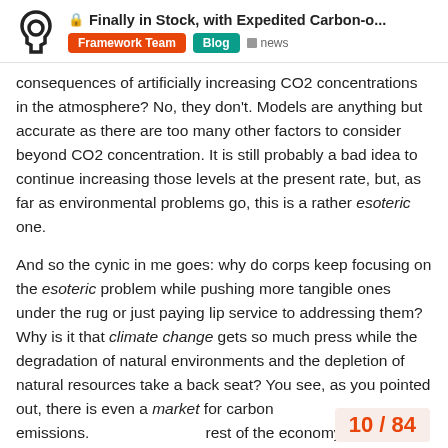Finally in Stock, with Expedited Carbon-o... | Framework Team | Blog | news
consequences of artificially increasing CO2 concentrations in the atmosphere? No, they don't. Models are anything but accurate as there are too many other factors to consider beyond CO2 concentration. It is still probably a bad idea to continue increasing those levels at the present rate, but, as far as environmental problems go, this is a rather esoteric one.
And so the cynic in me goes: why do corps keep focusing on the esoteric problem while pushing more tangible ones under the rug or just paying lip service to addressing them? Why is it that climate change gets so much press while the degradation of natural environments and the depletion of natural resources take a back seat? You see, as you pointed out, there is even a market for carbon emissions. rest of the economy, and keeps the b
10 / 84